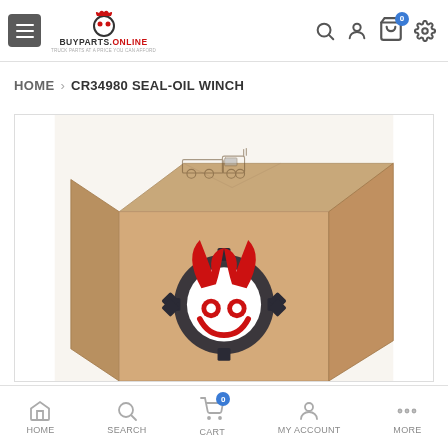BUYPARTS.ONLINE navigation header with hamburger menu, logo, search, account, cart, and settings icons
HOME > CR34980 SEAL-OIL WINCH
[Figure (photo): Product photo of a cardboard shipping box with a truck sketch on top and the BuyParts.Online devil gear logo (red flames, dark gear, white circle with red crab-claw symbol) printed on the front face of the box.]
HOME  SEARCH  CART  MY ACCOUNT  MORE